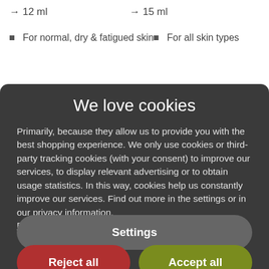→ 12 ml
→ 15 ml
For normal, dry & fatigued skin
For all skin types
We love cookies
Primarily, because they allow us to provide you with the best shopping experience. We only use cookies or third-party tracking cookies (with your consent) to improve our services, to display relevant advertising or to obtain usage statistics. In this way, cookies help us constantly improve our services. Find out more in the settings or in our privacy information. Data protection information
Settings
Reject all
Accept all